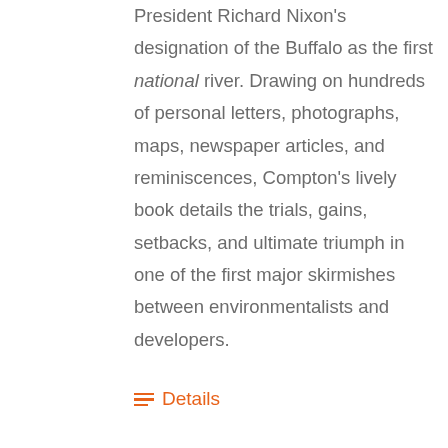President Richard Nixon's designation of the Buffalo as the first national river. Drawing on hundreds of personal letters, photographs, maps, newspaper articles, and reminiscences, Compton's lively book details the trials, gains, setbacks, and ultimate triumph in one of the first major skirmishes between environmentalists and developers.
Details